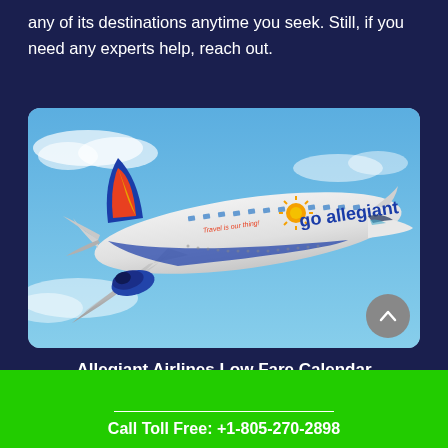any of its destinations anytime you seek. Still, if you need any experts help, reach out.
[Figure (photo): Allegiant Airlines airplane in flight against a blue sky background, with the Allegiant logo and livery visible on the fuselage and tail.]
Allegiant Airlines Low Fare Calendar
Call Toll Free: +1-805-270-2898